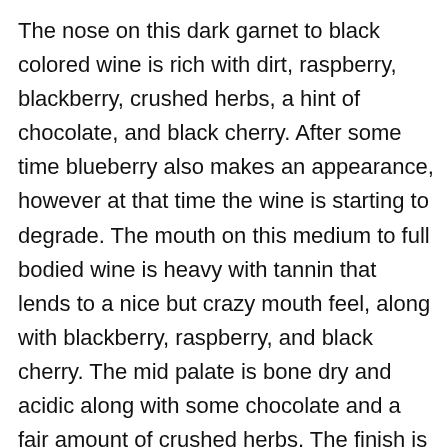The nose on this dark garnet to black colored wine is rich with dirt, raspberry, blackberry, crushed herbs, a hint of chocolate, and black cherry. After some time blueberry also makes an appearance, however at that time the wine is starting to degrade. The mouth on this medium to full bodied wine is heavy with tannin that lends to a nice but crazy mouth feel, along with blackberry, raspberry, and black cherry. The mid palate is bone dry and acidic along with some chocolate and a fair amount of crushed herbs. The finish is long with chocolate, blackberry, black cherry, crushed herbs, and some mineral. After a few hours the tannins soften a bit and turn more mouth coating along with some nice vanilla. However, after a bit more time the wine turns totally tannic and out of balance, so be careful to drink this wine with 3 to 4 hours after opening.